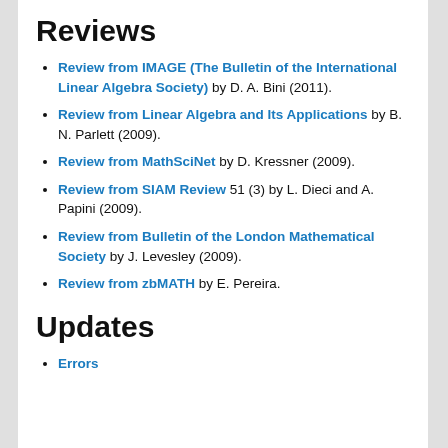Reviews
Review from IMAGE (The Bulletin of the International Linear Algebra Society) by D. A. Bini (2011).
Review from Linear Algebra and Its Applications by B. N. Parlett (2009).
Review from MathSciNet by D. Kressner (2009).
Review from SIAM Review 51 (3) by L. Dieci and A. Papini (2009).
Review from Bulletin of the London Mathematical Society by J. Levesley (2009).
Review from zbMATH by E. Pereira.
Updates
Errors